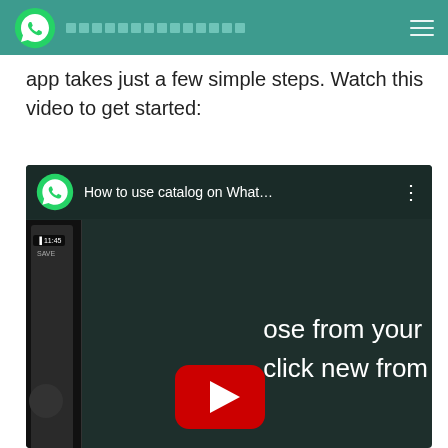WhatsApp [redacted header text]
app takes just a few simple steps. Watch this video to get started:
[Figure (screenshot): A YouTube video thumbnail embedded on a webpage showing 'How to use catalog on What...' with WhatsApp logo, a phone screen on the left side with time 11:45, a YouTube play button in the center-bottom area, and text overlay reading 'ose from your' and 'click new from' on the right side. The video player has a dark teal background.]